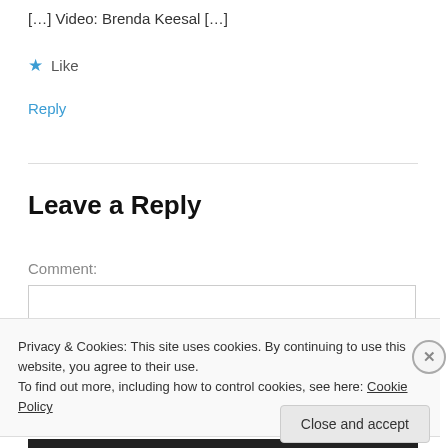[…] Video: Brenda Keesal […]
★ Like
Reply
Leave a Reply
Comment:
Privacy & Cookies: This site uses cookies. By continuing to use this website, you agree to their use.
To find out more, including how to control cookies, see here: Cookie Policy
Close and accept